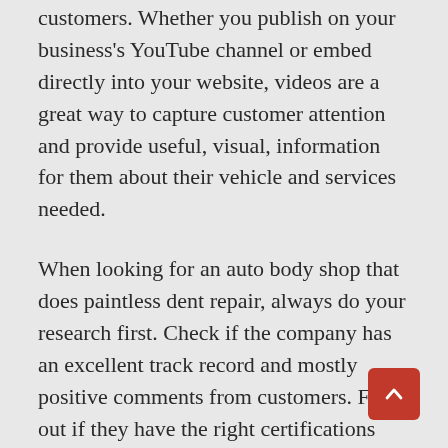customers. Whether you publish on your business's YouTube channel or embed directly into your website, videos are a great way to capture customer attention and provide useful, visual, information for them about their vehicle and services needed.
When looking for an auto body shop that does paintless dent repair, always do your research first. Check if the company has an excellent track record and mostly positive comments from customers. Find out if they have the right certifications before trusting them to do bodywork on your car. By hiring an established company with certified experts, you are sure that your valued vehicle is in good hands. Explore a few more info at removing minor dents Dallas, TX.
How to Fix Hail Damage on a Car : Hail damage i… of the most common issues car owners face.